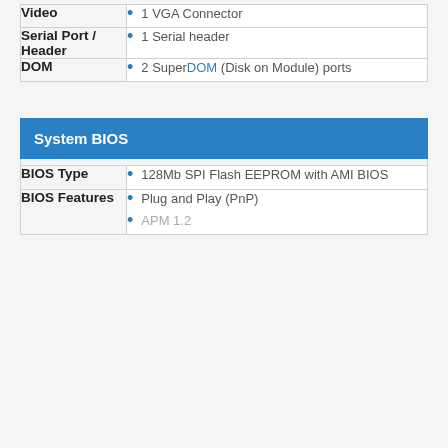| Feature | Details |
| --- | --- |
| Video | 1 VGA Connector |
| Serial Port / Header | 1 Serial header |
| DOM | 2 SuperDOM (Disk on Module) ports |
System BIOS
| Feature | Details |
| --- | --- |
| BIOS Type | 128Mb SPI Flash EEPROM with AMI BIOS |
| BIOS Features | Plug and Play (PnP)
APM 1.2 |